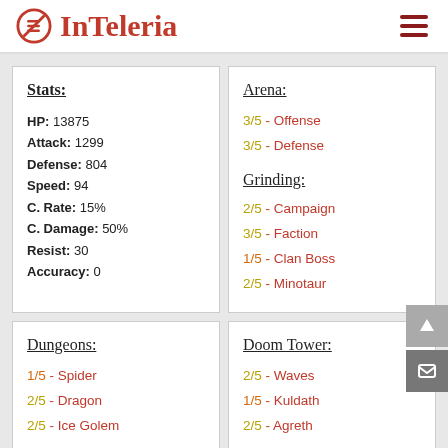InTeleria
Stats:
HP: 13875
Attack: 1299
Defense: 804
Speed: 94
C. Rate: 15%
C. Damage: 50%
Resist: 30
Accuracy: 0
Arena:
3/5 - Offense
3/5 - Defense
Grinding:
2/5 - Campaign
3/5 - Faction
1/5 - Clan Boss
2/5 - Minotaur
Dungeons:
1/5 - Spider
2/5 - Dragon
2/5 - Ice Golem
Doom Tower:
2/5 - Waves
1/5 - Kuldath
2/5 - Agreth